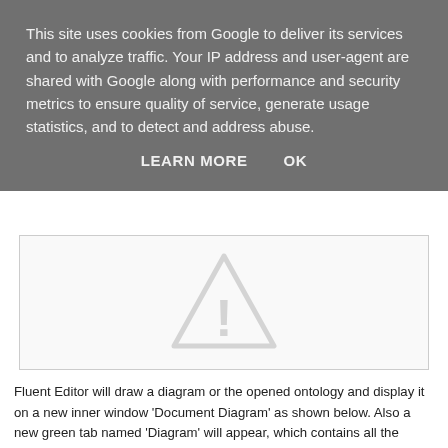This site uses cookies from Google to deliver its services and to analyze traffic. Your IP address and user-agent are shared with Google along with performance and security metrics to ensure quality of service, generate usage statistics, and to detect and address abuse.
LEARN MORE    OK
[Figure (screenshot): Screenshot area showing a warning triangle icon on white/light gray background]
Fluent Editor will draw a diagram or the opened ontology and display it on a new inner window 'Document Diagram' as shown below. Also a new green tab named 'Diagram' will appear, which contains all the interfaces for the diagram you can interact with.
[Figure (screenshot): Screenshot area showing a partial warning/diagram icon at the bottom]